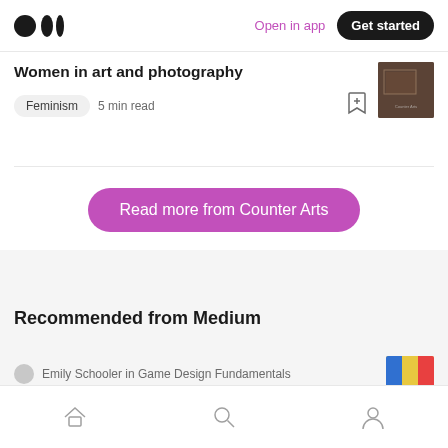Medium app header with logo, Open in app link, and Get started button
Women in art and photography
Feminism  5 min read
[Figure (photo): Small thumbnail image of an artwork, dark brownish-red tones]
Read more from Counter Arts
Recommended from Medium
Emily Schooler in Game Design Fundamentals
Bottom navigation bar with Home, Search, and Profile icons